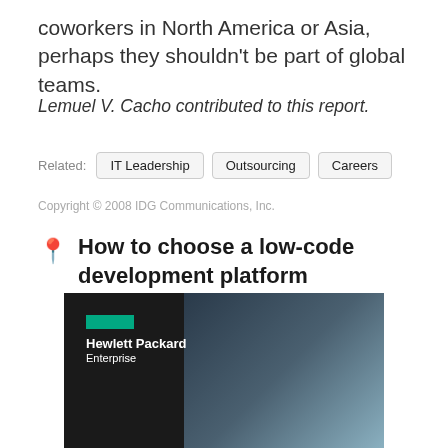coworkers in North America or Asia, perhaps they shouldn't be part of global teams.
Lemuel V. Cacho contributed to this report.
Related:  IT Leadership  Outsourcing  Careers
Copyright © 2008 IDG Communications, Inc.
How to choose a low-code development platform
[Figure (photo): Hewlett Packard Enterprise advertisement showing a woman and the HPE logo with green rectangle]